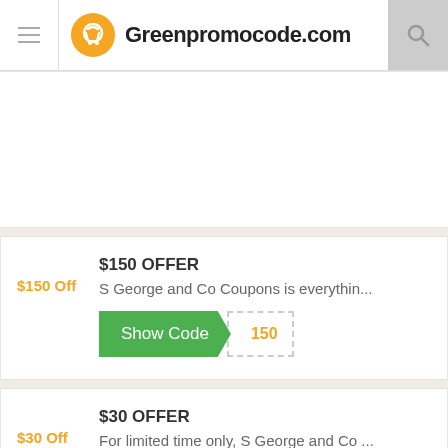Greenpromocode.com
[Figure (other): Empty white card/advertisement placeholder area]
$150 OFFER
$150 Off  S George and Co Coupons is everythin...
Show Code  150
$30 OFFER
$30 Off  For limited time only, S George and Co ...